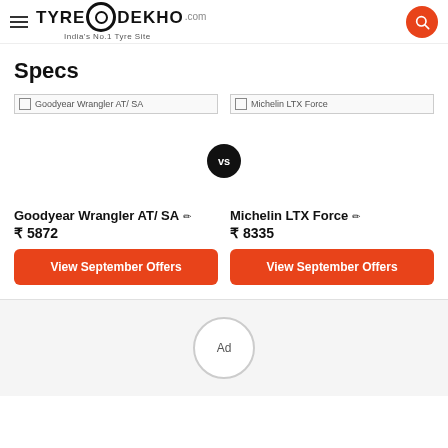TyreDekho.com — India's No.1 Tyre Site
Specs
Goodyear Wrangler AT/ SA
Michelin LTX Force
Goodyear Wrangler AT/ SA ✏ ₹ 5872
Michelin LTX Force ✏ ₹ 8335
View September Offers
View September Offers
[Figure (other): Ad placeholder circle]